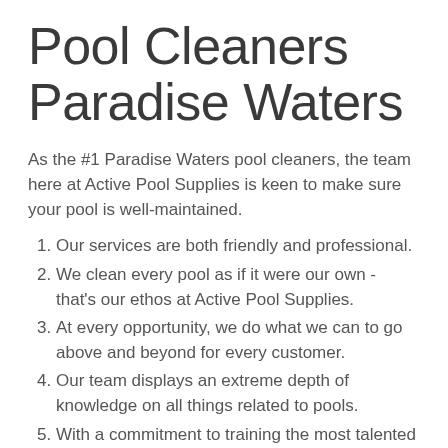Pool Cleaners Paradise Waters
As the #1 Paradise Waters pool cleaners, the team here at Active Pool Supplies is keen to make sure your pool is well-maintained.
Our services are both friendly and professional.
We clean every pool as if it were our own - that's our ethos at Active Pool Supplies.
At every opportunity, we do what we can to go above and beyond for every customer.
Our team displays an extreme depth of knowledge on all things related to pools.
With a commitment to training the most talented